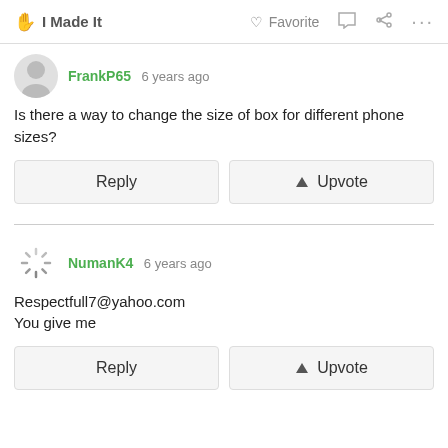✋ I Made It   ♡ Favorite   💬   ⋯
FrankP65 6 years ago
Is there a way to change the size of box for different phone sizes?
Reply   Upvote
NumanK4 6 years ago
Respectfull7@yahoo.com
You give me
Reply   Upvote